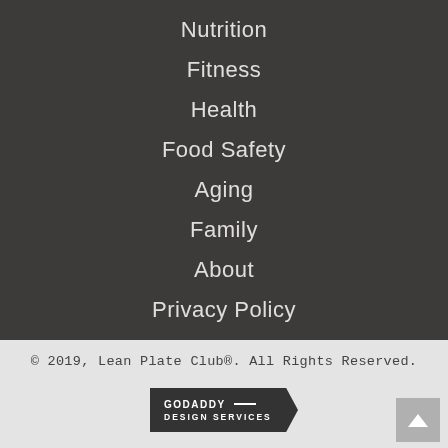Nutrition
Fitness
Health
Food Safety
Aging
Family
About
Privacy Policy
© 2019, Lean Plate Club®. All Rights Reserved.
[Figure (logo): GoDaddy Design Services badge/logo with chevron shape]
[Figure (other): Back to top button with upward arrow]